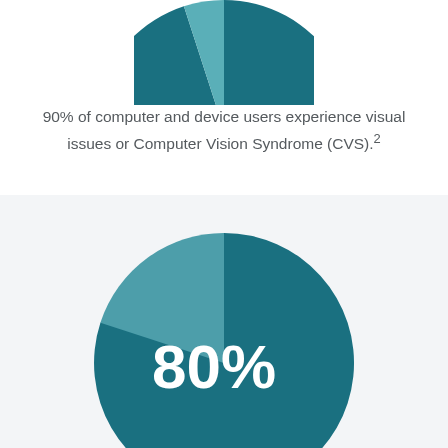[Figure (pie-chart): 90% pie chart (top, partial)]
90% of computer and device users experience visual issues or Computer Vision Syndrome (CVS).2
[Figure (pie-chart): 80% pie chart]